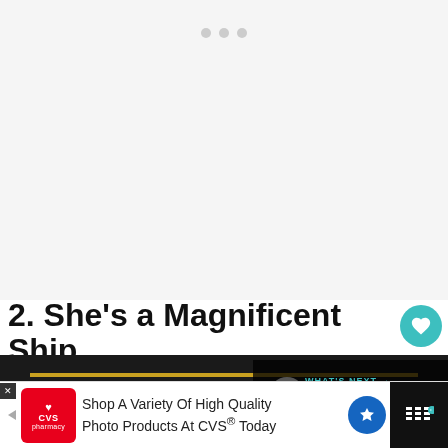[Figure (screenshot): White/light gray top area of a webpage with three small gray navigation dots centered near the top]
2. She's a Magnificent Ship
[Figure (photo): Close-up photograph of the Cutty Sark ship nameplate, gold lettering on black background reading CUTTY SARK with gold decorative lines]
[Figure (infographic): WHAT'S NEXT panel showing thumbnail and text: There's a Bear in There!...]
[Figure (screenshot): CVS Pharmacy advertisement: Shop A Variety Of High Quality Photo Products At CVS® Today]